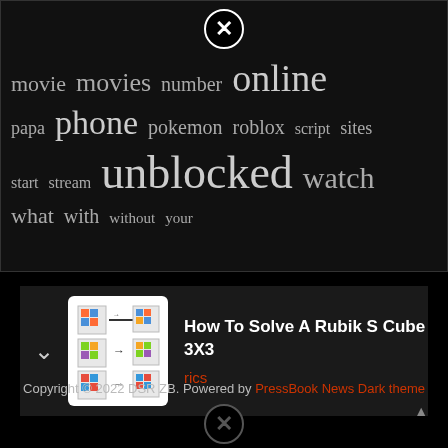[Figure (infographic): Word cloud in dark box with words: movie, movies, number, online, papa, phone, pokemon, roblox, script, sites, start, stream, unblocked, watch, what, with, without, your]
[Figure (photo): Thumbnail image of a Rubik's cube solving steps guide]
How To Solve A Rubik S Cube 3X3
rics
Copyright © 2022 DSR ZB. Powered by PressBook News Dark theme